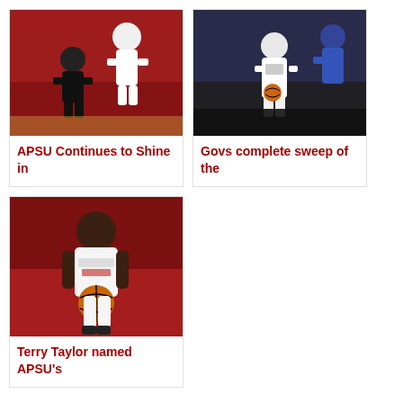[Figure (photo): Basketball player dunking or jumping in red and black arena]
APSU Continues to Shine in
[Figure (photo): Basketball player in white UHHS uniform dribbling with blue team defender]
Govs complete sweep of the
[Figure (photo): Basketball player in white GOVS uniform looking down at basketball]
Terry Taylor named APSU's
APSU
BASKETBALL
BELMONT
GOVS
MARCH MADNESS
OVC
TOURNAMENT